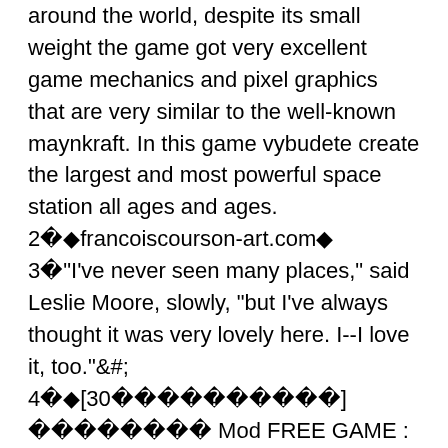Death Star" The game that won the hearts of many players from around the world, despite its small weight the game got very excellent game mechanics and pixel graphics that are very similar to the well-known maynkraft. In this game vybudete create the largest and most powerful space station all ages and ages.
2 � francoiscourson-art.com�
3 "I've never seen many places," said Leslie Moore, slowly, "but I've always thought it was very lovely here. I--I love it, too."&#;
4 �[30          ]          Mod FREE GAME : impatient basket Mod APK 1.1.1 Features:Unlock Map[The moment game which concludes with 30 seconds]You can play for free of charge!As a basket is operated and apple is caught for 30 seconds!■ An operating method is a snowy cricket.A basket moves to the place where a tap did trout.I'll catch apple just as it is!When a bomb is caught, the score is cut, so I pay attention!■ Degree of difficulty is 4 stages."It's easy." I'm preparing "ordinariness" "difficulty" "discoyness"■ If the good score goes out it'll be proud in SNS!■